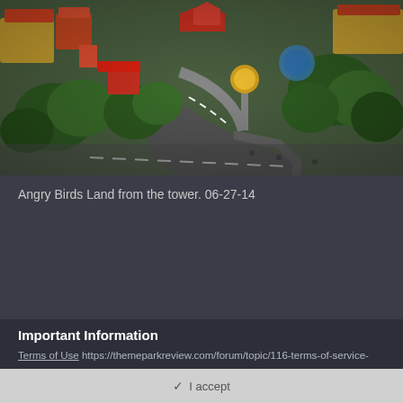[Figure (photo): Aerial view of Angry Birds Land theme park taken from a tower, showing colorful rides, pathways, trees, and themed structures.]
Angry Birds Land from the tower. 06-27-14
Important Information
Terms of Use https://themeparkreview.com/forum/topic/116-terms-of-service-please-read/
✓ I accept